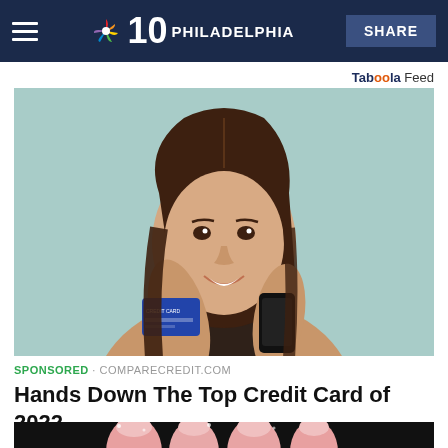NBC10 PHILADELPHIA   SHARE
Taboola Feed
[Figure (photo): Young woman smiling, holding a blue credit card and a black smartphone, standing against a light teal background, wearing a tan top]
SPONSORED · COMPARECREDIT.COM
Hands Down The Top Credit Card of 2022
[Figure (photo): Close-up of fingers with pink nail polish against a dark background, partially visible at bottom of page]